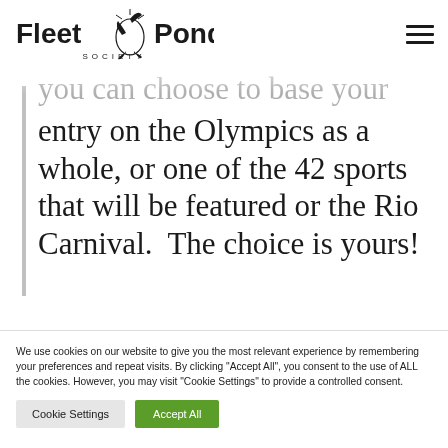Fleet Pond Society
you can choose to base your entry on the Olympics as a whole, or one of the 42 sports that will be featured or the Rio Carnival.  The choice is yours!
We use cookies on our website to give you the most relevant experience by remembering your preferences and repeat visits. By clicking "Accept All", you consent to the use of ALL the cookies. However, you may visit "Cookie Settings" to provide a controlled consent.